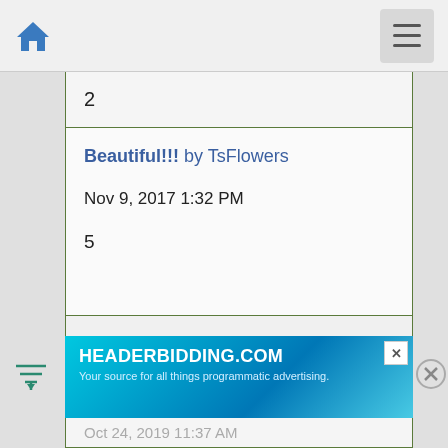Navigation bar with home icon and menu icon
2
Beautiful!!! by TsFlowers
Nov 9, 2017 1:32 PM
5
Be-a-u-T-i-ful!! by TsFlowers
Nov 8, 2017 12:13 PM
2
a 15 photo composite of american sycamore lea...
[Figure (screenshot): HEADERBIDDING.COM advertisement banner - Your source for all things programmatic advertising.]
Oct 24, 2019 11:37 AM